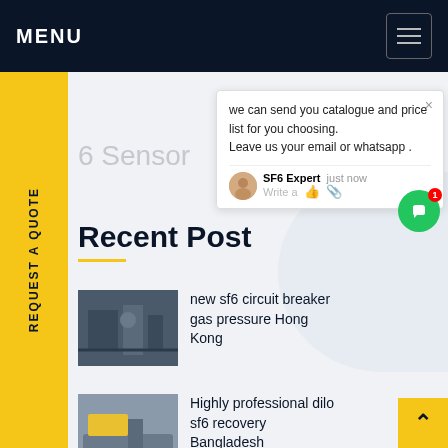MENU
REQUEST A QUOTE
6 Sensor
Recent Post
[Figure (photo): Industrial SF6 circuit breaker equipment photo]
new sf6 circuit breaker gas pressure Hong Kong
[Figure (photo): Yellow SF6 recovery truck photo]
Highly professional dilo sf6 recovery Bangladesh
[Figure (other): Chat popup: we can send you catalogue and price list for you choosing. Leave us your email or whatsapp . SF6 Expert  just now  Write a]